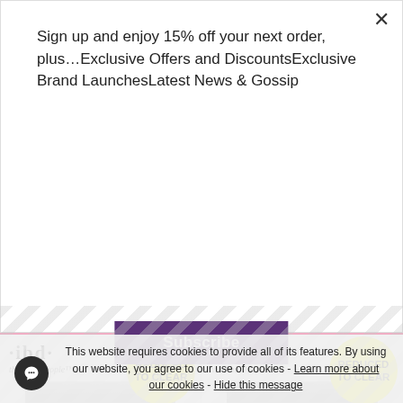Sign up and enjoy 15% off your next order, plus…Exclusive Offers and DiscountsExclusive Brand LaunchesLatest News & Gossip
Subscribe
[Figure (screenshot): IBD the Nail People product grid showing two acrylic powder jars with yellow 'REDUCED TO CLEAR' badges, a pink filter bar, and product thumbnails]
This website requires cookies to provide all of its features. By using our website, you agree to our use of cookies - Learn more about our cookies - Hide this message